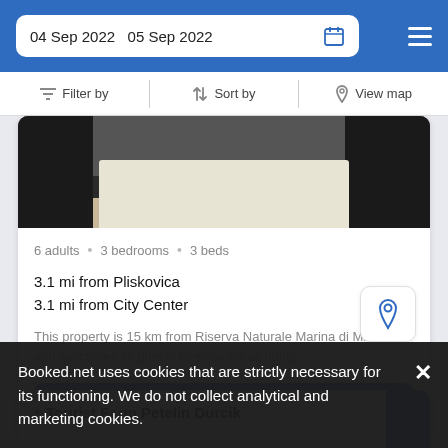04 Sep 2022  05 Sep 2022
Filter by   Sort by   View map
[Figure (photo): Partial view of a property interior showing a white coffee table and dark chairs on a wooden floor]
6 adults  •  3 bedrooms  •  3 beds
3.1 mi from Pliskovica
3.1 mi from City Center
This property is 15 km from Riserva Naturale Marina di Miramare and welcomes its guests to enjoy horse riding,...
SELECT
Tourist Farm Petelin Durcik
Booked.net uses cookies that are strictly necessary for its functioning. We do not collect analytical and marketing cookies.